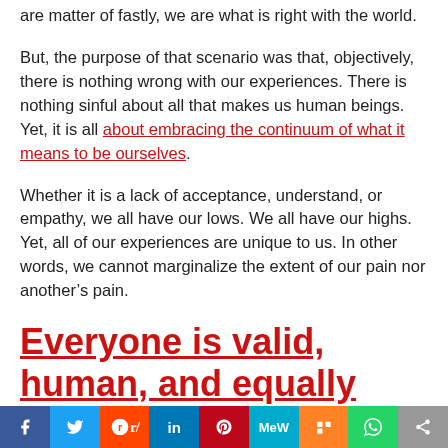are matter of fastly, we are what is right with the world.
But, the purpose of that scenario was that, objectively, there is nothing wrong with our experiences. There is nothing sinful about all that makes us human beings. Yet, it is all about embracing the continuum of what it means to be ourselves.
Whether it is a lack of acceptance, understand, or empathy, we all have our lows. We all have our highs. Yet, all of our experiences are unique to us. In other words, we cannot marginalize the extent of our pain nor another’s pain.
Everyone is valid, human, and equally deserving of a happier, healthier and
[Figure (infographic): Social sharing bar with icons: Facebook (blue), Twitter (light blue), Reddit (orange-red), LinkedIn (blue), Pinterest (red), MeWe (teal), Mix (orange), WhatsApp (green), Share (gray)]